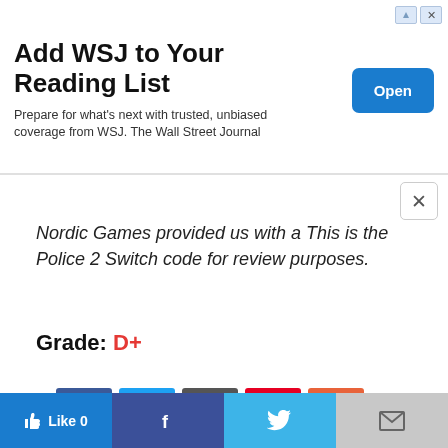[Figure (screenshot): WSJ advertisement banner with title 'Add WSJ to Your Reading List', subtitle text, and blue Open button]
Nordic Games provided us with a This is the Police 2 Switch code for review purposes.
Grade: D+
[Figure (infographic): Row of social sharing buttons: Facebook (blue), Twitter (light blue), Email (dark gray), Pinterest (red), More/Plus (orange-red)]
This website uses cookies.
[Figure (infographic): Bottom bar with Like 0, Facebook, Twitter, and Mail sharing buttons]